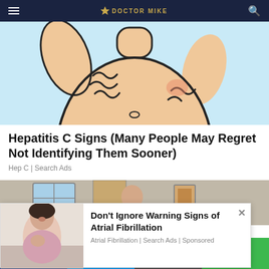Doctor Mike (navigation bar with hamburger menu, logo, and search icon)
[Figure (illustration): Cartoon illustration of a person scratching their abdomen/torso area, on a light blue background. The figure is shown from neck to waist, skin-toned, scratching with both hands.]
Hepatitis C Signs (Many People May Regret Not Identifying Them Sooner)
Hep C | Search Ads
[Figure (photo): Photograph of a room interior, partially visible, showing a window and a framed picture on the wall with a person in the background.]
[Figure (photo): Popup advertisement photo showing a woman holding her chest/heart area, appearing distressed.]
Don't Ignore Warning Signs of Atrial Fibrillation
Atrial Fibrillation | Search Ads | Sponsored
Social share bar: Facebook, Twitter, Email, SMS